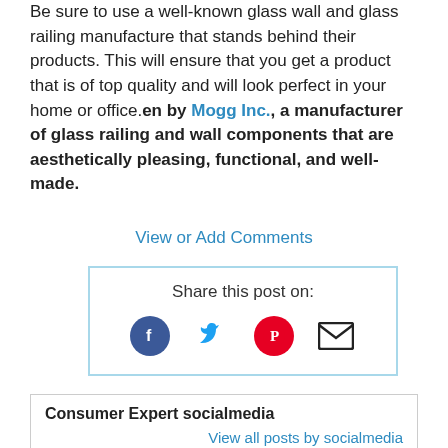Be sure to use a well-known glass wall and glass railing manufacture that stands behind their products. This will ensure that you get a product that is of top quality and will look perfect in your home or office.en by Mogg Inc., a manufacturer of glass railing and wall components that are aesthetically pleasing, functional, and well-made.
View or Add Comments
Share this post on:
Consumer Expert socialmedia
View all posts by socialmedia